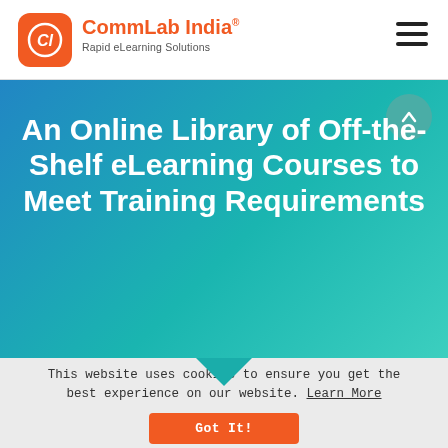CommLab India® Rapid eLearning Solutions
[Figure (screenshot): CommLab India logo: orange rounded square with stylized CI letters in white, followed by brand name and tagline]
An Online Library of Off-the-Shelf eLearning Courses to Meet Training Requirements
This website uses cookies to ensure you get the best experience on our website. Learn More
Got It!